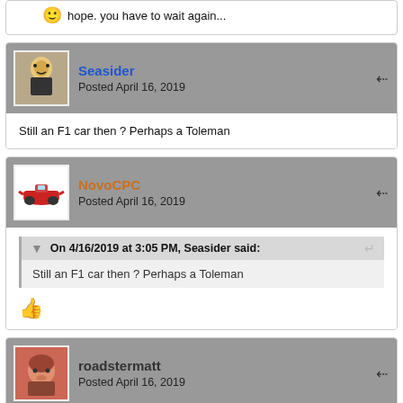hope. you have to wait again...
Seasider
Posted April 16, 2019
Still an F1 car then ? Perhaps a Toleman
NovoCPC
Posted April 16, 2019
On 4/16/2019 at 3:05 PM, Seasider said:
Still an F1 car then ? Perhaps a Toleman
roadstermatt
Posted April 16, 2019